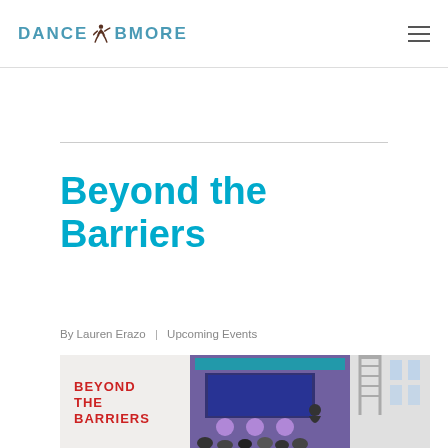DANCE & BMORE
Beyond the Barriers
By Lauren Erazo | Upcoming Events
[Figure (photo): Conference or event venue with a 'BEYOND THE BARRIERS' banner/signage visible on the left, large display screens in the background showing a panel, and an audience seated in the foreground in a modern venue with purple lighting.]